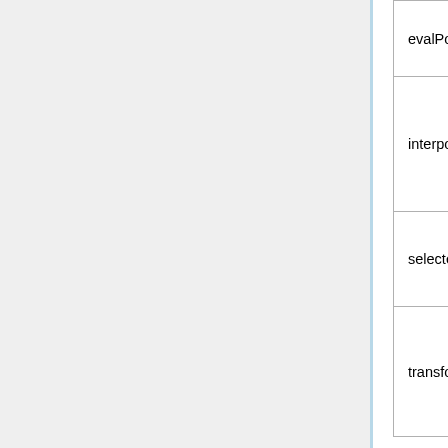| Method | Description |
| --- | --- |
| evalPoint(t) | evaluate the point at t |
| interpolate(path, t) | generate and return a new ShapePath by interpolating with path using t |
| selected(index) | True if the control point at index is selected |
| transform(Matrix, selected=False) | transform all (or just the selected) points by the Matrix |
Constants
Control Point Flags